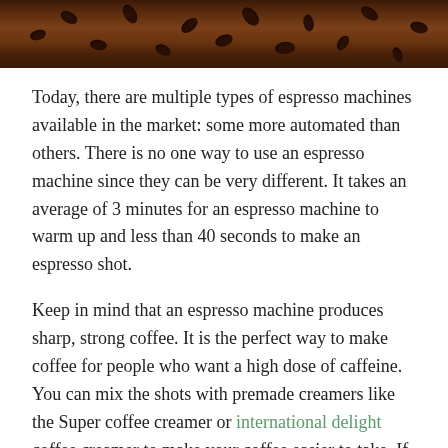[Figure (photo): Close-up photo of coffee beans scattered on a dark wooden surface, warm brown tones]
Today, there are multiple types of espresso machines available in the market: some more automated than others. There is no one way to use an espresso machine since they can be very different. It takes an average of 3 minutes for an espresso machine to warm up and less than 40 seconds to make an espresso shot.
Keep in mind that an espresso machine produces sharp, strong coffee. It is the perfect way to make coffee for people who want a high dose of caffeine. You can mix the shots with premade creamers like the Super coffee creamer or international delight coffee creamer to make your coffee easier to take. If you don't mind the bitter coffee taste, you can take the shot by itself.